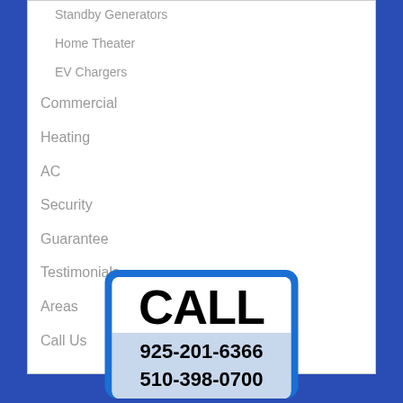Standby Generators
Home Theater
EV Chargers
Commercial
Heating
AC
Security
Guarantee
Testimonials
Areas
Call Us
[Figure (infographic): Call to action box with blue border, white background, large bold text 'CALL' and two phone numbers: 925-201-6366 and 510-398-0700 on a light blue background]